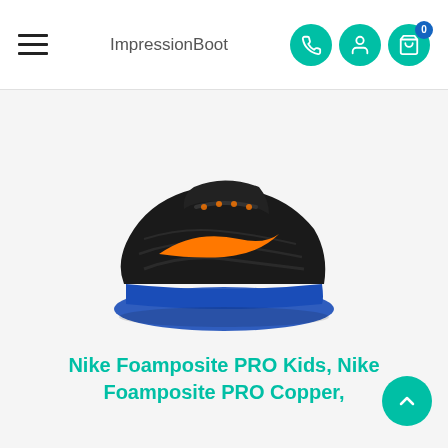ImpressionBoot navigation header with hamburger menu, logo, phone icon, user icon, and cart icon with badge 0
[Figure (photo): Nike Foamposite PRO sneaker in black with orange swoosh and blue sole, shown from a side-angled view on white background]
Nike Foamposite PRO Kids, Nike Foamposite PRO Copper,
[Figure (photo): Nike Foamposite PRO sneaker in black with gold/copper swoosh, shown from a front-angled view on white background]